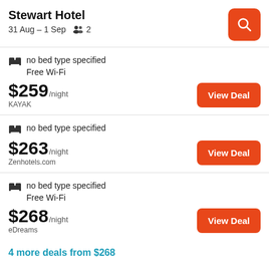Stewart Hotel
31 Aug – 1 Sep   2
no bed type specified
Free Wi-Fi
$259/night
KAYAK
no bed type specified
$263/night
Zenhotels.com
no bed type specified
Free Wi-Fi
$268/night
eDreams
4 more deals from $268